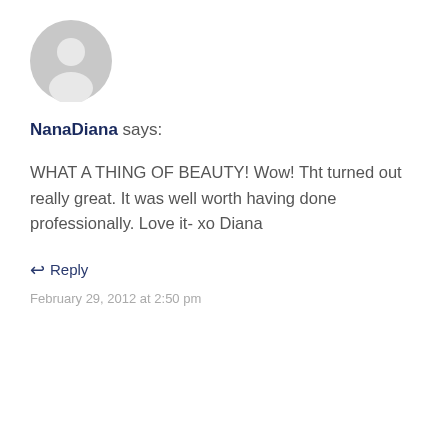[Figure (illustration): Gray circular user avatar icon for NanaDiana]
NanaDiana says:
WHAT A THING OF BEAUTY! Wow! Tht turned out really great. It was well worth having done professionally. Love it- xo Diana
↩ Reply
February 29, 2012 at 2:50 pm
[Figure (illustration): Gray circular user avatar icon for Ashley Jones (partially visible)]
Ashley Jones says: